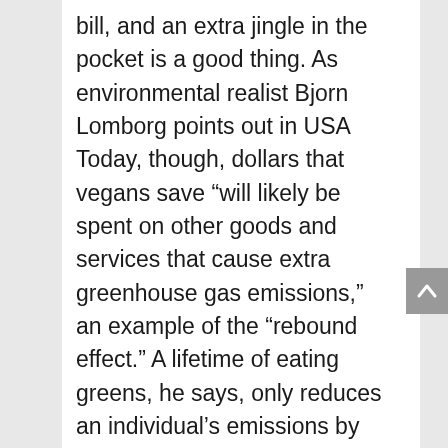bill, and an extra jingle in the pocket is a good thing. As environmental realist Bjorn Lomborg points out in USA Today, though, dollars that vegans save “will likely be spent on other goods and services that cause extra greenhouse gas emissions,” an example of the “rebound effect.” A lifetime of eating greens, he says, only reduces an individual’s emissions by about 2 percent. Those drawn to saving the world might accomplish more by reducing hunger rather than temperatures.

The silly season will pass with the coming